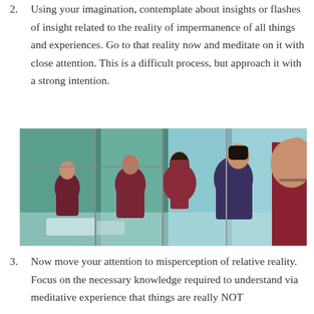2. Using your imagination, contemplate about insights or flashes of insight related to the reality of impermanence of all things and experiences. Go to that reality now and meditate on it with close attention. This is a difficult process, but approach it with a strong intention.
[Figure (photo): Group of people dressed in dark maroon/burgundy clothing sitting cross-legged in meditation poses in a bright room with large glass windows and green foliage visible outside.]
3. Now move your attention to misperception of relative reality. Focus on the necessary knowledge required to understand via meditative experience that things are really NOT